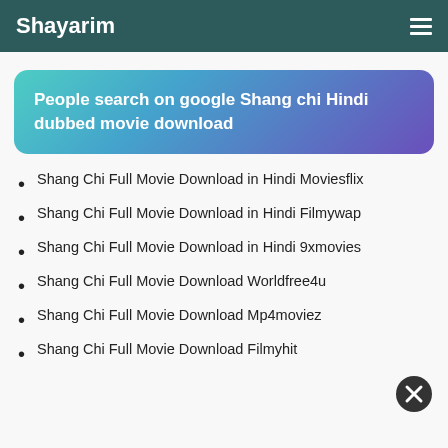Shayarim
People search on google Shang chi Hindi dubbed movie download
Shang Chi Full Movie Download in Hindi Moviesflix
Shang Chi Full Movie Download in Hindi Filmywap
Shang Chi Full Movie Download in Hindi 9xmovies
Shang Chi Full Movie Download Worldfree4u
Shang Chi Full Movie Download Mp4moviez
Shang Chi Full Movie Download Filmyhit